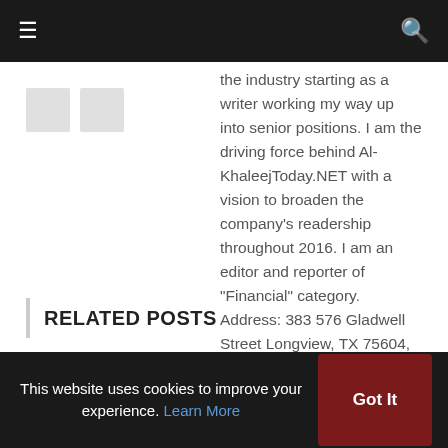≡  [search icon]
the industry starting as a writer working my way up into senior positions. I am the driving force behind Al-KhaleejToday.NET with a vision to broaden the company's readership throughout 2016. I am an editor and reporter of "Financial" category. Address: 383 576 Gladwell Street Longview, TX 75604, USA Phone: (+1) 903-247-0907 Email: Jeffking@al-khaleejtoday.net
RELATED POSTS
[Figure (photo): Related posts image strip with two blurred/greyed photo thumbnails and a rocket icon on the right]
This website uses cookies to improve your experience. Learn More
Got It